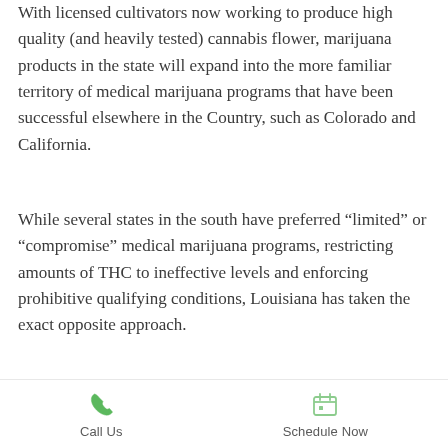With licensed cultivators now working to produce high quality (and heavily tested) cannabis flower, marijuana products in the state will expand into the more familiar territory of medical marijuana programs that have been successful elsewhere in the Country, such as Colorado and California.
While several states in the south have preferred “limited” or “compromise” medical marijuana programs, restricting amounts of THC to ineffective levels and enforcing prohibitive qualifying conditions, Louisiana has taken the exact opposite approach.
By providing high quality cannabis
Call Us   Schedule Now